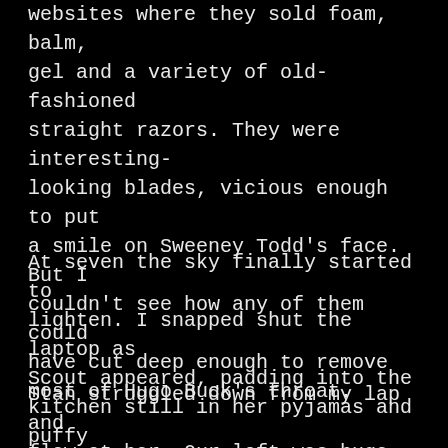websites where they sold foam, balm, gel and a variety of old-fashioned straight razors. They were interesting-looking blades, vicious enough to put a smile on Sweeney Todd's face. But I couldn't see how any of them could have cut deep enough to remove most of Hugo Buck's throat.
At seven the sky finally started to lighten. I snapped shut the laptop as Scout appeared, padding into the kitchen still in her pyjamas and puffy with sleep.
Stan struggled down from my lap and flew at her. Our loft was huge. Far too big for a man, child and dog. Our family had grown smaller while the loft seemed to get bigger. Now we rattled around in all that empty space under the exposed wooden beams and brickwork, the dog's paws skidding on the polished wooden floorboards as